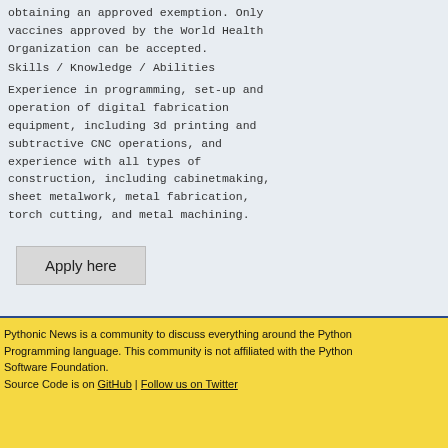obtaining an approved exemption. Only vaccines approved by the World Health Organization can be accepted.
Skills / Knowledge / Abilities
Experience in programming, set-up and operation of digital fabrication equipment, including 3d printing and subtractive CNC operations, and experience with all types of construction, including cabinetmaking, sheet metalwork, metal fabrication, torch cutting, and metal machining.
Apply here
Pythonic News is a community to discuss everything around the Python Programming language. This community is not affiliated with the Python Software Foundation.
Source Code is on GitHub | Follow us on Twitter